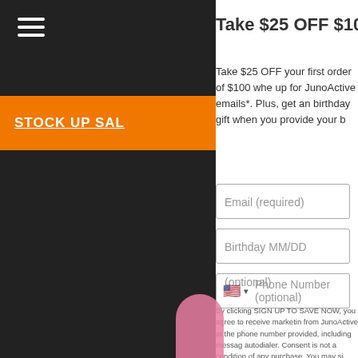[Figure (screenshot): Left navigation sidebar with dark background, hamburger menu icon (three white horizontal lines), an orange sale banner with 'STOCK UP SAL' text (partially visible), and a pink figure at the bottom.]
Take $25 OFF $100
Take $25 OFF your first order of $100 when you sign up for JunoActive emails*. Plus, get an annual birthday gift when you provide your birthday.
Email (required)
Birthday MM/DD (optional)
Phone Number (optional)
By clicking SIGN UP TO SAVE NOW, you agree to receive marketing from JunoActive at the phone number provided, including messages sent by autodialer. Consent is not a condition of any purchase. You may si